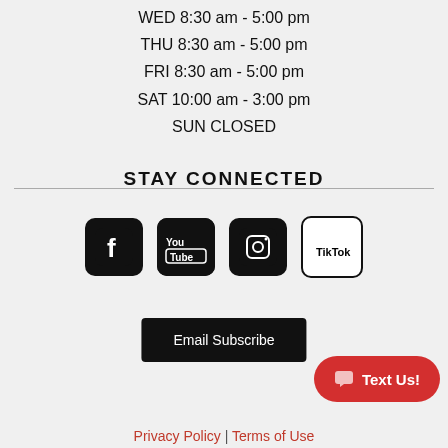WED 8:30 am - 5:00 pm
THU 8:30 am - 5:00 pm
FRI 8:30 am - 5:00 pm
SAT 10:00 am - 3:00 pm
SUN CLOSED
STAY CONNECTED
[Figure (infographic): Four social media icons: Facebook, YouTube, Instagram, TikTok — all black rounded square icons]
Email Subscribe
Text Us!
Privacy Policy | Terms of Use